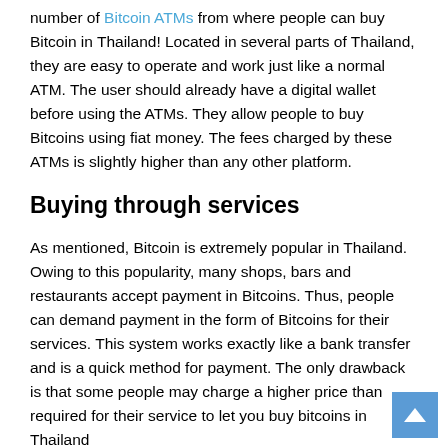number of Bitcoin ATMs from where people can buy Bitcoin in Thailand! Located in several parts of Thailand, they are easy to operate and work just like a normal ATM. The user should already have a digital wallet before using the ATMs. They allow people to buy Bitcoins using fiat money. The fees charged by these ATMs is slightly higher than any other platform.
Buying through services
As mentioned, Bitcoin is extremely popular in Thailand. Owing to this popularity, many shops, bars and restaurants accept payment in Bitcoins. Thus, people can demand payment in the form of Bitcoins for their services. This system works exactly like a bank transfer and is a quick method for payment. The only drawback is that some people may charge a higher price than required for their service to let you buy bitcoins in Thailand